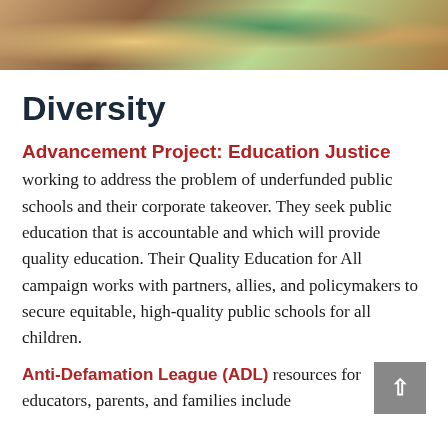[Figure (photo): Photo of children at a classroom table, colorful artwork visible in the background]
Diversity
Advancement Project: Education Justice
working to address the problem of underfunded public schools and their corporate takeover. They seek public education that is accountable and which will provide quality education. Their Quality Education for All campaign works with partners, allies, and policymakers to secure equitable, high-quality public schools for all children.
Anti-Defamation League (ADL) resources for educators, parents, and families include